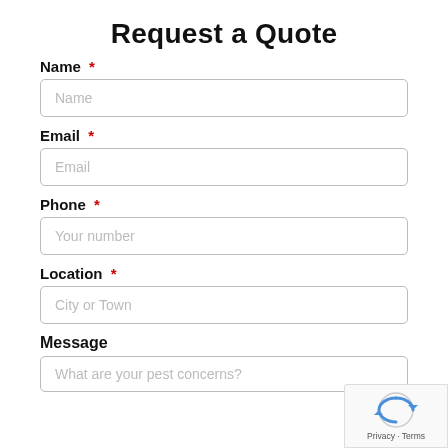Request a Quote
Name *
Email *
Phone *
Location *
Message